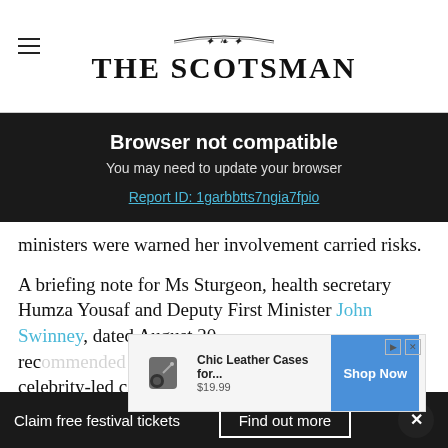THE SCOTSMAN
Browser not compatible
You may need to update your browser
Report ID: 1garbbtts7ngia7fpio
ministers were warned her involvement carried risks.
A briefing note for Ms Sturgeon, health secretary Humza Yousaf and Deputy First Minister John Swinney, dated August 20, rec... celebrity-led campaign using Janey Godley in
[Figure (other): Advertisement overlay: Chic Leather Cases for... $19.99, Shop Now button]
Claim free festival tickets   Find out more